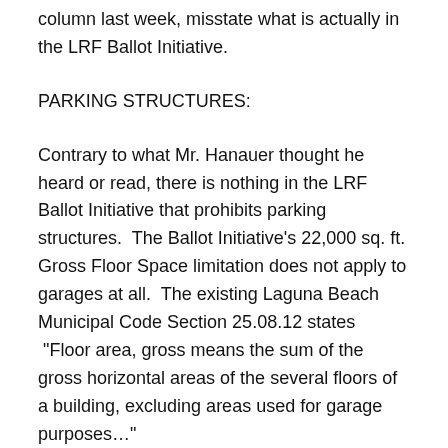column last week, misstate what is actually in the LRF Ballot Initiative.
PARKING STRUCTURES:
Contrary to what Mr. Hanauer thought he heard or read, there is nothing in the LRF Ballot Initiative that prohibits parking structures.  The Ballot Initiative's 22,000 sq. ft. Gross Floor Space limitation does not apply to garages at all.  The existing Laguna Beach Municipal Code Section 25.08.12 states  “Floor area, gross means the sum of the gross horizontal areas of the several floors of a building, excluding areas used for garage purposes…”
Parking garages would, of course, have to conform